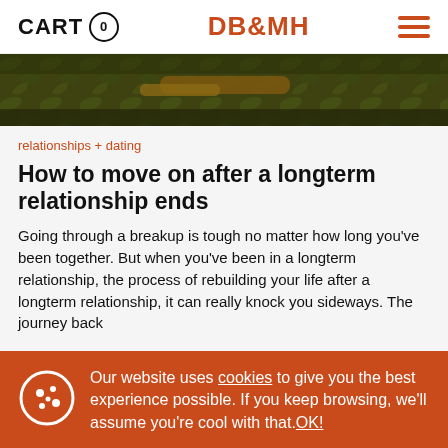CART 0 | DB&MH
[Figure (photo): Close-up photo of a branch or tree bark with foliage in dark olive/green tones]
relationships + dating
How to move on after a longterm relationship ends
Going through a breakup is tough no matter how long you've been together. But when you've been in a longterm relationship, the process of rebuilding your life after a longterm relationship, it can really knock you sideways. The journey back
Our website uses cookies to give you the best experience possible. If you keep browsing, we'll assume you're cool with that.OK!